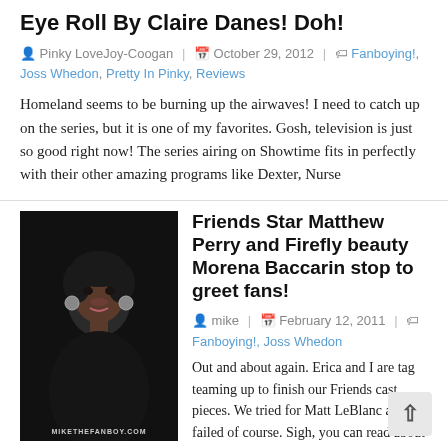Eye Roll By Claire Danes! Doh!
Pinky LoveJoy-Coogan | October 29, 2012 | Fanboying!, Joss Whedon, Pretty In Pinky, Reviews
Homeland seems to be burning up the airwaves! I need to catch up on the series, but it is one of my favorites. Gosh, television is just so good right now! The series airing on Showtime fits in perfectly with their other amazing programs like Dexter, Nurse
[Figure (photo): Photo of a woman with short dark curly hair, wearing dark clothing, with round earrings. Watermark: MIKETHEFANBOY.COM]
Friends Star Matthew Perry and Firefly beauty Morena Baccarin stop to greet fans!
mike | February 12, 2011 | Fanboying!, Joss Whedon
Out and about again. Erica and I are tag teaming up to finish our Friends cast pieces. We tried for Matt LeBlanc and failed of course. Sigh, you can read about